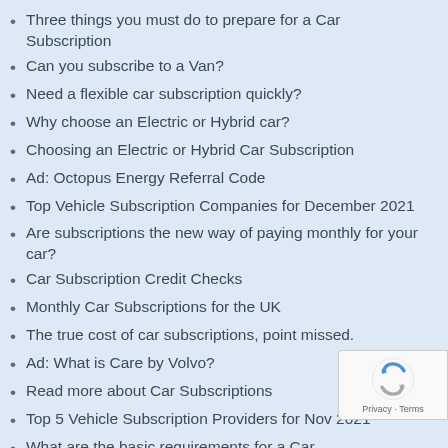Three things you must do to prepare for a Car Subscription
Can you subscribe to a Van?
Need a flexible car subscription quickly?
Why choose an Electric or Hybrid car?
Choosing an Electric or Hybrid Car Subscription
Ad: Octopus Energy Referral Code
Top Vehicle Subscription Companies for December 2021
Are subscriptions the new way of paying monthly for your car?
Car Subscription Credit Checks
Monthly Car Subscriptions for the UK
The true cost of car subscriptions, point missed.
Ad: What is Care by Volvo?
Read more about Car Subscriptions
Top 5 Vehicle Subscription Providers for Nov 2021
What are the basic requirements for a Car